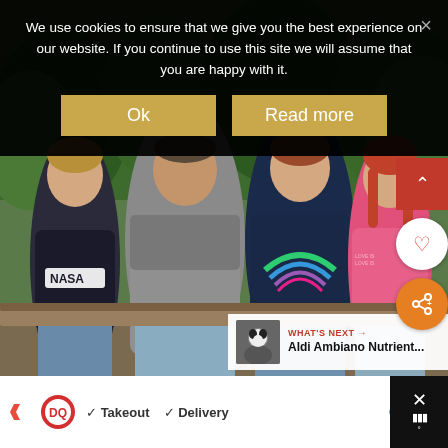We use cookies to ensure that we give you the best experience on our website. If you continue to use this site we will assume that you are happy with it.
Ok
Read more
[Figure (photo): Family of four (two adults and two children) sitting outdoors on what appears to be a wooden structure, with green trees in background. Boy on left in NASA hoodie, man in grey hoodie, woman in navy rainbow sweatshirt, girl on right in pink hoodie.]
WHAT'S NEXT → Aldi Ambiano Nutrient...
✓ Takeout  ✓ Delivery